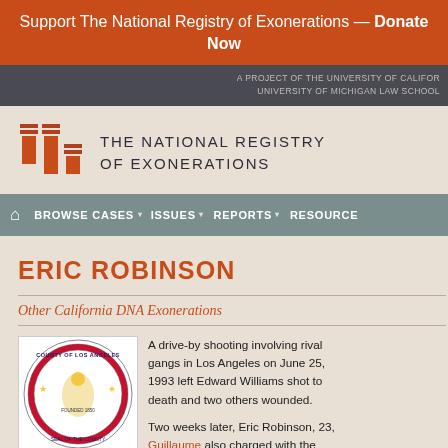Support The National Registry of Exonerations — Donate Now
A PROJECT OF THE UNIVERSITY OF CALIFORNIA IRVINE NEWKIRK CENTER FOR SCIENCE & SOCIETY & THE UNIVERSITY OF MICHIGAN LAW SCHOOL
[Figure (logo): The National Registry of Exonerations logo with orange/red graphic icon of columns and the text 'THE NATIONAL REGISTRY OF EXONERATIONS']
HOME   BROWSE CASES   ISSUES   REPORTS   RESOURCES
ERIC ROBINSON
Other California DNA Exonerations
[Figure (logo): County of Los Angeles official seal]
A drive-by shooting involving rival gangs in Los Angeles on June 25, 1993 left Edward Williams shot to death and two others wounded.

Two weeks later, Eric Robinson, 23, was arrested. Guillaume also charged with the
Two weeks later, Eric Robinson, 23,